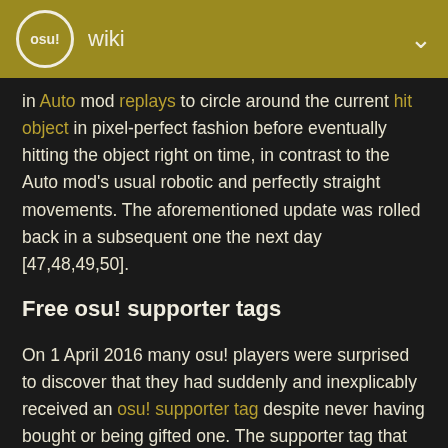osu! wiki
in Auto mod replays to circle around the current hit object in pixel-perfect fashion before eventually hitting the object right on time, in contrast to the Auto mod's usual robotic and perfectly straight movements. The aforementioned update was rolled back in a subsequent one the next day [47,48,49,50].
Free osu! supporter tags
On 1 April 2016 many osu! players were surprised to discover that they had suddenly and inexplicably received an osu! supporter tag despite never having bought or being gifted one. The supporter tag that was given to players was fully functional and acted just like a regular supporter tag; however, the change was rolled back the next day [51,52,53,54,55,56,57].
Spinning osu! cookie on website
A copy of the handful of April Fool's la big ci of 2016 the